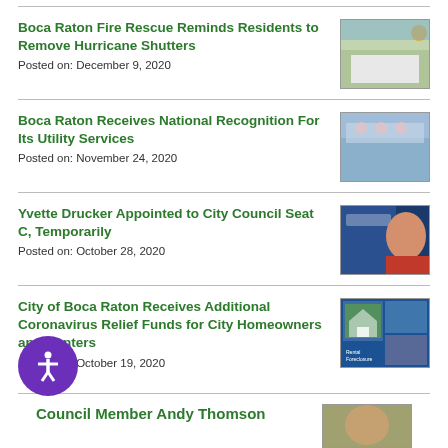Boca Raton Fire Rescue Reminds Residents to Remove Hurricane Shutters
Posted on: December 9, 2020
[Figure (photo): Photo of a house with hurricane shutters]
Boca Raton Receives National Recognition For Its Utility Services
Posted on: November 24, 2020
[Figure (photo): Photo of people at a ceremony]
Yvette Drucker Appointed to City Council Seat C, Temporarily
Posted on: October 28, 2020
[Figure (photo): Photo of Yvette Drucker]
City of Boca Raton Receives Additional Coronavirus Relief Funds for City Homeowners and Renters
Posted on: October 19, 2020
[Figure (photo): Rental assistance program graphic]
Council Member Andy Thomson